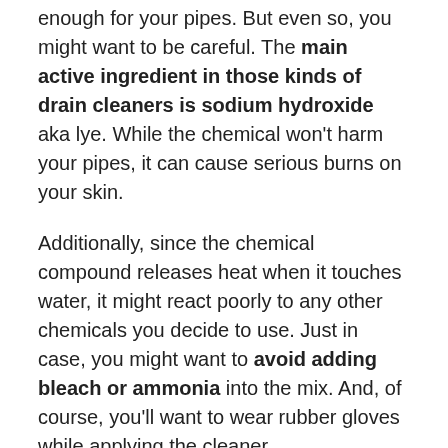enough for your pipes. But even so, you might want to be careful. The main active ingredient in those kinds of drain cleaners is sodium hydroxide aka lye. While the chemical won't harm your pipes, it can cause serious burns on your skin.
Additionally, since the chemical compound releases heat when it touches water, it might react poorly to any other chemicals you decide to use. Just in case, you might want to avoid adding bleach or ammonia into the mix. And, of course, you'll want to wear rubber gloves while applying the cleaner.
Natural Alternatives
Alternatively, you can use one of the many commercial drain cleaners that don't contain